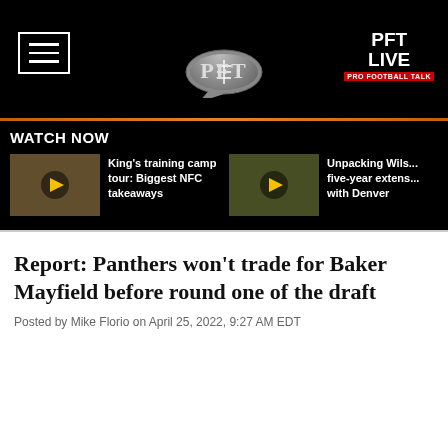PFT LIVE — Pro Football Talk navigation header
WATCH NOW
[Figure (screenshot): Video thumbnail for King's training camp tour: Biggest NFC takeaways, with play button overlay]
King's training camp tour: Biggest NFC takeaways
[Figure (screenshot): Video thumbnail for Unpacking Wilson's five-year extension with Denver, with play button overlay]
Unpacking Wils... five-year extens... with Denver
Report: Panthers won't trade for Baker Mayfield before round one of the draft
Posted by Mike Florio on April 25, 2022, 9:27 AM EDT